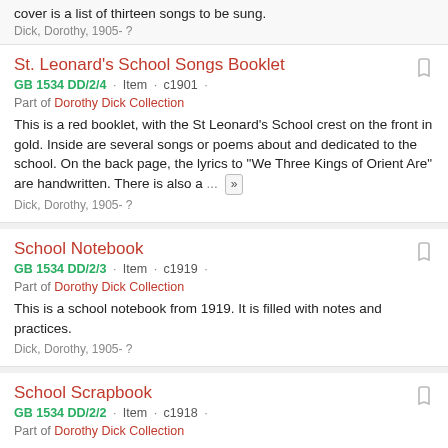cover is a list of thirteen songs to be sung.
Dick, Dorothy, 1905- ?
St. Leonard's School Songs Booklet
GB 1534 DD/2/4 · Item · c1901 ·
Part of Dorothy Dick Collection
This is a red booklet, with the St Leonard's School crest on the front in gold. Inside are several songs or poems about and dedicated to the school. On the back page, the lyrics to "We Three Kings of Orient Are" are handwritten. There is also a ...
Dick, Dorothy, 1905- ?
School Notebook
GB 1534 DD/2/3 · Item · c1919 ·
Part of Dorothy Dick Collection
This is a school notebook from 1919. It is filled with notes and practices.
Dick, Dorothy, 1905- ?
School Scrapbook
GB 1534 DD/2/2 · Item · c1918 ·
Part of Dorothy Dick Collection
This item is a scrapbook from Dorothy Dick's time at St. Leonard's School for Girls. It includes pictures, report cards,